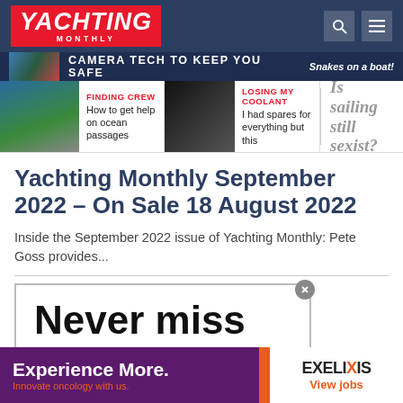YACHTING MONTHLY
[Figure (screenshot): Navigation banner with headline: CAMERA TECH TO KEEP YOU SAFE and Snakes on a boat! teaser, plus two article promos: FINDING CREW - How to get help on ocean passages, and LOSING MY COOLANT - I had spares for everything but this, and Is sailing still sexist?]
Yachting Monthly September 2022 – On Sale 18 August 2022
Inside the September 2022 issue of Yachting Monthly: Pete Goss provides...
[Figure (screenshot): Subscription box with large bold text: Never miss]
[Figure (infographic): Ad bar: Experience More. Innovate oncology with us. EXELIXIS View jobs]